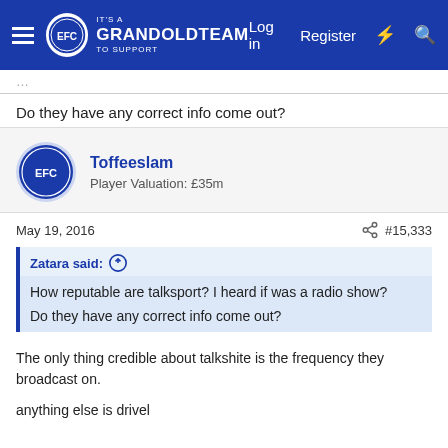GrandOldTeam — Log in  Register
Do they have any correct info come out?
Toffeeslam
Player Valuation: £35m
May 19, 2016  #15,333
Zatara said:
How reputable are talksport? I heard if was a radio show?
Do they have any correct info come out?
The only thing credible about talkshite is the frequency they broadcast on.

anything else is drivel